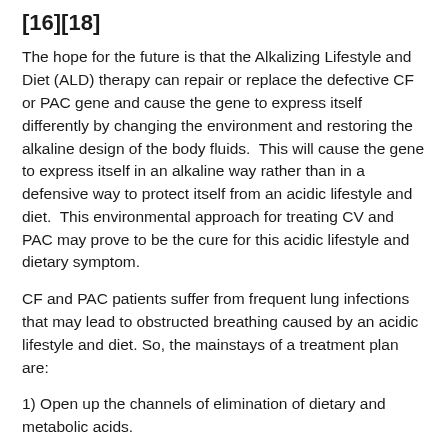[16][18]
The hope for the future is that the Alkalizing Lifestyle and Diet (ALD) therapy can repair or replace the defective CF or PAC gene and cause the gene to express itself differently by changing the environment and restoring the alkaline design of the body fluids.  This will cause the gene to express itself in an alkaline way rather than in a defensive way to protect itself from an acidic lifestyle and diet.  This environmental approach for treating CV and PAC may prove to be the cure for this acidic lifestyle and dietary symptom.
CF and PAC patients suffer from frequent lung infections that may lead to obstructed breathing caused by an acidic lifestyle and diet. So, the mainstays of a treatment plan are:
1) Open up the channels of elimination of dietary and metabolic acids.
2) Hyper-perfuse the tissues with alkalinity to buffer the